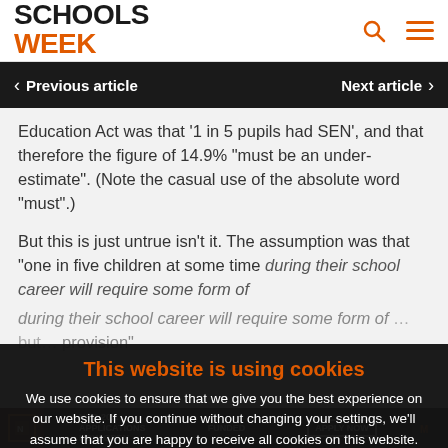SCHOOLS WEEK
Previous article | Next article
Education Act was that '1 in 5 pupils had SEN', and that therefore the figure of 14.9% "must be an under-estimate". (Note the casual use of the absolute word "must".)
But this is just untrue isn't it. The assumption was that "one in five children at some time during their school career will require some form of... but... provision"
This website is using cookies
We use cookies to ensure that we give you the best experience on our website. If you continue without changing your settings, we'll assume that you are happy to receive all cookies on this website.
Accept | Learn More
NPQ 20... APPLICATIONS NOW OPEN | FUNDED | APPLY NOW